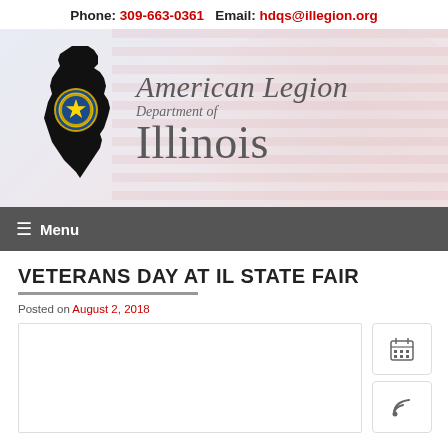Phone: 309-663-0361  Email: hdqs@illegion.org
[Figure (logo): American Legion Department of Illinois logo with Illinois state silhouette in black, American Legion emblem seal, and text 'American Legion Department of Illinois' on a flag-background banner]
≡ Menu
VETERANS DAY AT IL STATE FAIR
Posted on August 2, 2018
[Figure (other): White content box placeholder]
[Figure (other): Calendar icon button in sidebar]
[Figure (other): RSS feed icon button in sidebar]